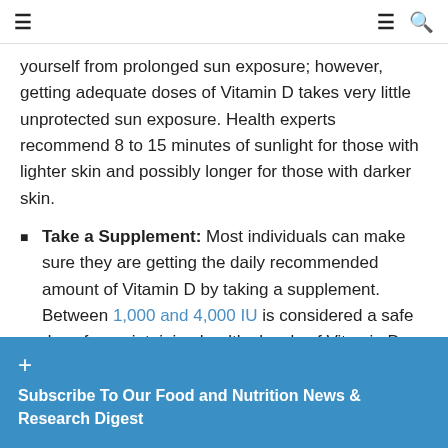≡  ≡  🔍
yourself from prolonged sun exposure; however, getting adequate doses of Vitamin D takes very little unprotected sun exposure. Health experts recommend 8 to 15 minutes of sunlight for those with lighter skin and possibly longer for those with darker skin.
Take a Supplement: Most individuals can make sure they are getting the daily recommended amount of Vitamin D by taking a supplement. Between 1,000 and 4,000 IU is considered a safe dose for maintaining healthy levels of Vitamin D.
Eat Fatty Fish and Seafood: Fatty fish and seafood are among the highest dietary sources of Vitamin D. Those highest in Vitamin D include wild salmon (farmed has been shown to have u... oysters, shrimp,
Consume Mus...
+ Subscribe To Our Food and Nutrition News & Research Digest